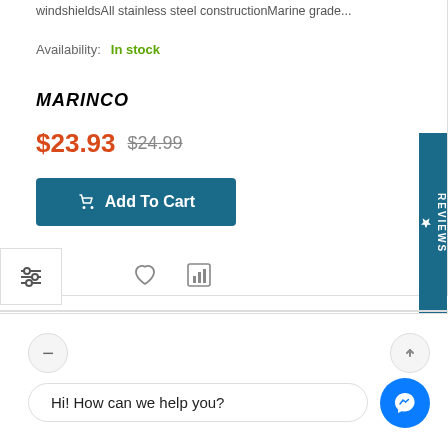windshieldsAll stainless steel constructionMarine grade...
Availability: In stock
[Figure (logo): MARINCO brand logo in bold italic black text]
$23.93 $24.99
Add To Cart
REVIEWS
[Figure (other): Filter/sliders icon, heart/wishlist icon, bar chart comparison icon]
-4%
Hi! How can we help you?